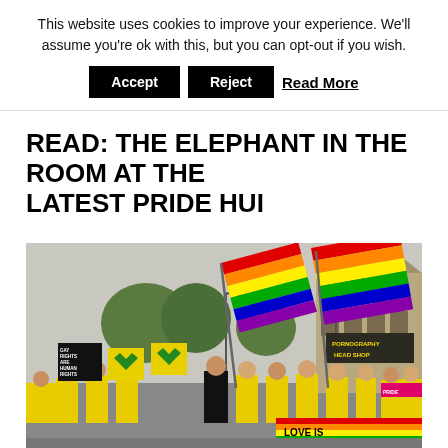This website uses cookies to improve your experience. We'll assume you're ok with this, but you can opt-out if you wish.
Accept | Reject | Read More
READ: THE ELEPHANT IN THE ROOM AT THE LATEST PRIDE HUI
[Figure (photo): A Pride parade scene with participants in yellow t-shirts marching down a street, carrying rainbow flags and signs including 'GAY RIGHTS ARE HUMAN RIGHTS' and 'LOVE IS A HUMAN RIGHT' (Amnesty International banner). Large rainbow flags wave above the crowd, with shops including 'PORNOGRAPHY HEAD SHOP' visible in the background.]